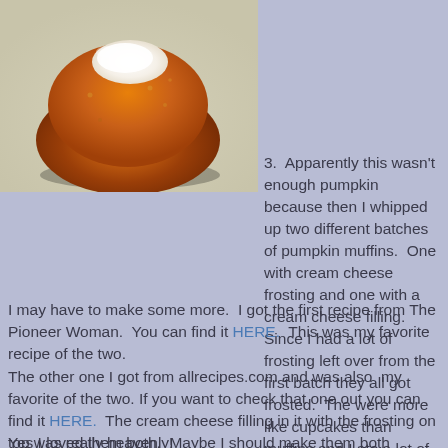[Figure (photo): Close-up photo of a pumpkin muffin with cream cheese filling/frosting on top, showing a round golden-brown muffin with white cream on top]
3.  Apparently this wasn't enough pumpkin because then I whipped up two different batches of pumpkin muffins.  One with cream cheese frosting and one with a cream cheese filling.  Since I had a lot of frosting left over from the first batch they all got frosted.  The were more like cupcakes than muffins and I ate a lot of them.
I may have to make some more.  I got the first recipe from The Pioneer Woman.  You can find it HERE.  This was my favorite recipe of the two.
The other one I got from allrecipes.com and was also  my favorite of the two. If you want to check that one out you can find it HERE.  The cream cheese filling in it with the frosting on top was really heavenly!
Yes I loved them both.  Maybe I should make them both